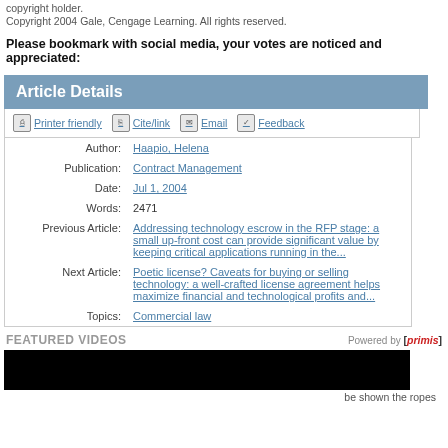copyright holder.
Copyright 2004 Gale, Cengage Learning. All rights reserved.
Please bookmark with social media, your votes are noticed and appreciated:
Article Details
Printer friendly  Cite/link  Email  Feedback
| Field | Value |
| --- | --- |
| Author: | Haapio, Helena |
| Publication: | Contract Management |
| Date: | Jul 1, 2004 |
| Words: | 2471 |
| Previous Article: | Addressing technology escrow in the RFP stage: a small up-front cost can provide significant value by keeping critical applications running in the... |
| Next Article: | Poetic license? Caveats for buying or selling technology: a well-crafted license agreement helps maximize financial and technological profits and... |
| Topics: | Commercial law |
FEATURED VIDEOS  Powered by [primis]
[Figure (screenshot): Black video thumbnail placeholder]
be shown the ropes